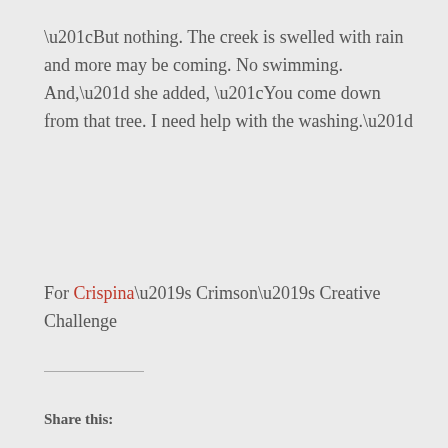“But nothing. The creek is swelled with rain and more may be coming. No swimming. And,” she added, “You come down from that tree. I need help with the washing.”
For Crispina’s Crimson’s Creative Challenge
Share this: